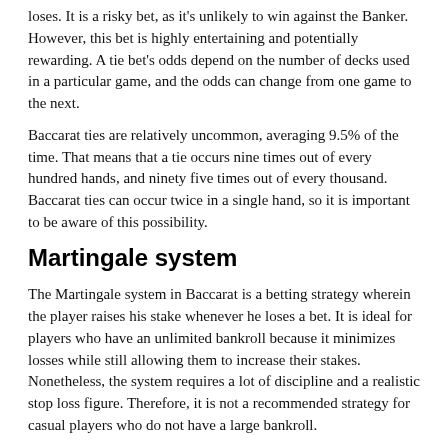loses. It is a risky bet, as it's unlikely to win against the Banker. However, this bet is highly entertaining and potentially rewarding. A tie bet's odds depend on the number of decks used in a particular game, and the odds can change from one game to the next.
Baccarat ties are relatively uncommon, averaging 9.5% of the time. That means that a tie occurs nine times out of every hundred hands, and ninety five times out of every thousand. Baccarat ties can occur twice in a single hand, so it is important to be aware of this possibility.
Martingale system
The Martingale system in Baccarat is a betting strategy wherein the player raises his stake whenever he loses a bet. It is ideal for players who have an unlimited bankroll because it minimizes losses while still allowing them to increase their stakes. Nonetheless, the system requires a lot of discipline and a realistic stop loss figure. Therefore, it is not a recommended strategy for casual players who do not have a large bankroll.
The Martingale system is based on the theory of mean revision, which states that price movements tend to revert to a long-term average after a certain amount of time. This means that the RTP will eventually be close to the original amount of money bet. Many baccarat players use this betting strategy to increase their winnings.